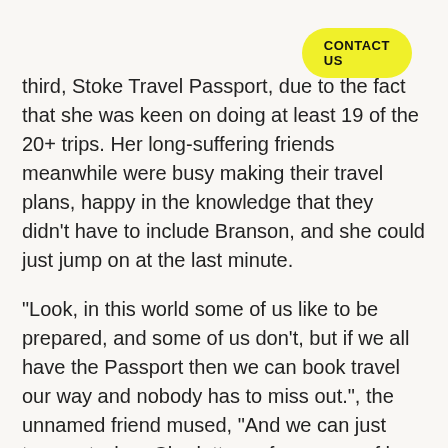CONTACT US
third, Stoke Travel Passport, due to the fact that she was keen on doing at least 19 of the 20+ trips. Her long-suffering friends meanwhile were busy making their travel plans, happy in the knowledge that they didn't have to include Branson, and she could just jump on at the last minute.
“Look, in this world some of us like to be prepared, and some of us don't, but if we all have the Passport then we can book travel our way and nobody has to miss out.", the unnamed friend mused, “And we can just tune out when Charlotte performs one of her monumental subject changes. We were talking about going to Sziget, for frig's sake, how did she start going on about camel rides in Morocco? Un-fucking-believable!"